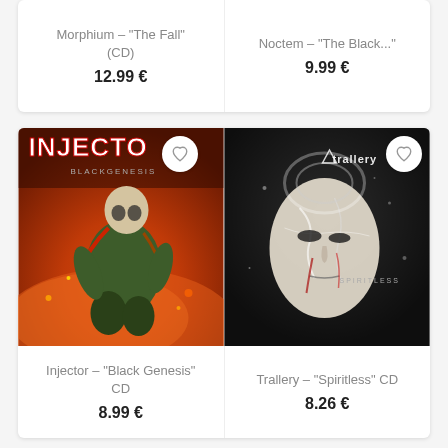Morphium – "The Fall" (CD)
12.99 €
Noctem – "The Black..."
9.99 €
[Figure (photo): Album cover for Injector - Black Genesis, featuring a bald mutant warrior character with tubes and skulls against an orange fiery background]
[Figure (photo): Album cover for Trallery - Spiritless, featuring a close-up of a white-painted human face with blood and fractures on a dark background with 'SPIRITLESS' text]
Injector – "Black Genesis" CD
8.99 €
Trallery – "Spiritless" CD
8.26 €